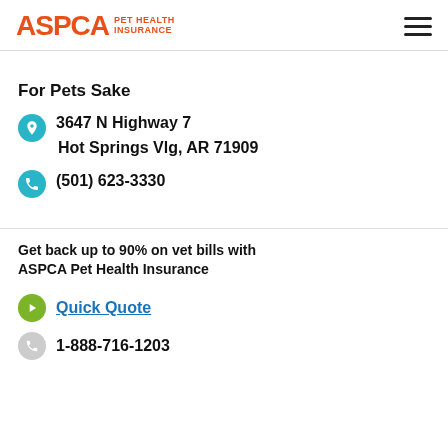ASPCA PET HEALTH INSURANCE
For Pets Sake
3647 N Highway 7
Hot Springs Vlg, AR 71909
(501) 623-3330
Get back up to 90% on vet bills with ASPCA Pet Health Insurance
Quick Quote
1-888-716-1203